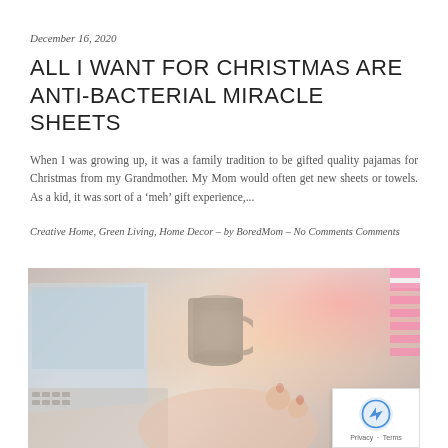December 16, 2020
ALL I WANT FOR CHRISTMAS ARE ANTI-BACTERIAL MIRACLE SHEETS
When I was growing up, it was a family tradition to be gifted quality pajamas for Christmas from my Grandmother. My Mom would often get new sheets or towels. As a kid, it was sort of a ‘meh’ gift experience,...
Creative Home, Green Living, Home Decor – by BoredMom – No Comments Comments
[Figure (photo): A woman sitting at a laptop computer holding a coffee mug, with a striped hat or decoration visible in the upper right. The scene appears warm and cozy, with soft lighting.]